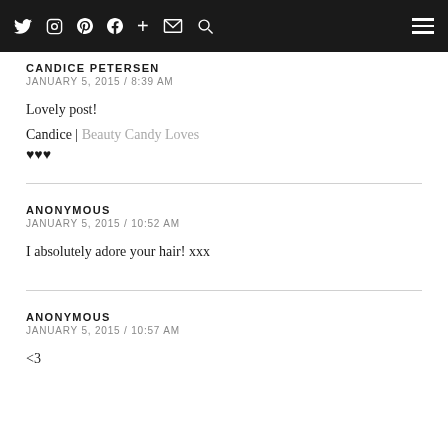Navigation bar with social icons: Twitter, Instagram, Pinterest, Facebook, Plus, Mail, Search, and hamburger menu
CANDICE PETERSEN
JANUARY 5, 2015 / 8:39 AM

Lovely post!

Candice | Beauty Candy Loves
♥♥♥
ANONYMOUS
JANUARY 5, 2015 / 10:52 AM

I absolutely adore your hair! xxx
ANONYMOUS
JANUARY 5, 2015 / 10:57 AM

<3